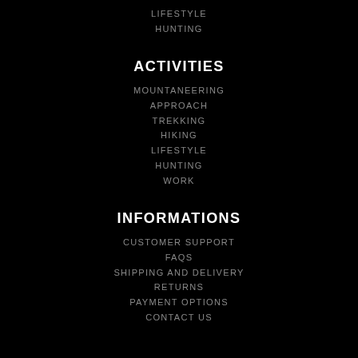LIFESTYLE
HUNTING
ACTIVITIES
MOUNTANEERING
APPROACH
TREKKING
HIKING
LIFESTYLE
HUNTING
WORK
INFORMATIONS
CUSTOMER SUPPORT
FAQS
SHIPPING AND DELIVERY
RETURNS
PAYMENT OPTIONS
CONTACT US